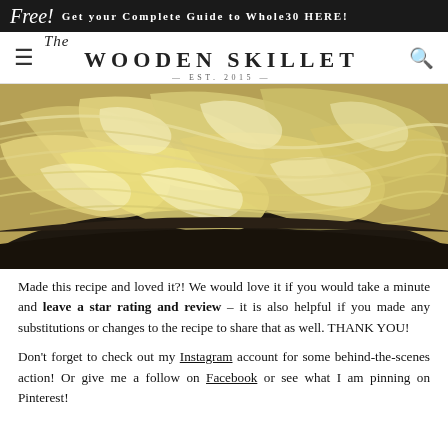Free! Get your Complete Guide to Whole30 HERE!
[Figure (logo): The Wooden Skillet logo with EST. 2015]
[Figure (photo): Close-up photo of caramelized onions in a dark skillet]
Made this recipe and loved it?! We would love it if you would take a minute and leave a star rating and review – it is also helpful if you made any substitutions or changes to the recipe to share that as well. THANK YOU!
Don't forget to check out my Instagram account for some behind-the-scenes action! Or give me a follow on Facebook or see what I am pinning on Pinterest!